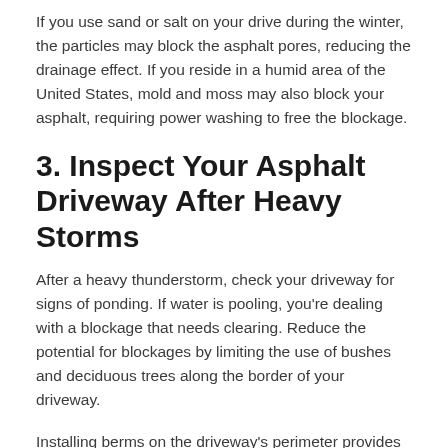If you use sand or salt on your drive during the winter, the particles may block the asphalt pores, reducing the drainage effect. If you reside in a humid area of the United States, mold and moss may also block your asphalt, requiring power washing to free the blockage.
3. Inspect Your Asphalt Driveway After Heavy Storms
After a heavy thunderstorm, check your driveway for signs of ponding. If water is pooling, you're dealing with a blockage that needs clearing. Reduce the potential for blockages by limiting the use of bushes and deciduous trees along the border of your driveway.
Installing berms on the driveway's perimeter provides a permeable border allowing for adequate run-off, reducing blockages.